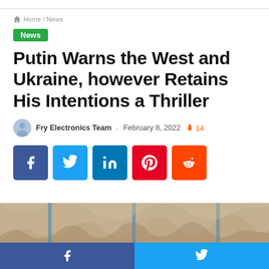Home / News
News
Putin Warns the West and Ukraine, however Retains His Intentions a Thriller
Fry Electronics Team · February 8, 2022 🔥 14
[Figure (infographic): Social share buttons: Facebook (blue), Twitter (light blue), LinkedIn (blue), Pinterest (red), Reddit (orange)]
[Figure (photo): Stone or marble architectural frieze/relief carving strip at bottom of article]
Facebook share | Twitter share